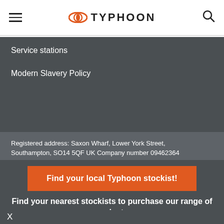TYPHOON
Service stations
Modern Slavery Policy
Registered address: Saxon Wharf, Lower York Street, Southampton, SO14 5QF UK Company number 09462364
Find your local Typhoon stockist!
Find your nearest stockists to purchase our range of products.
X